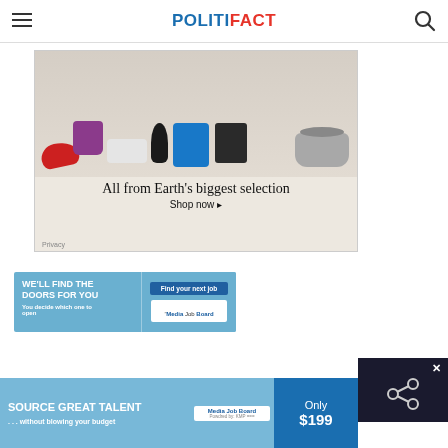POLITIFACT
[Figure (photo): Amazon advertisement showing various products including shoes, backpack, Xbox controller, Amazon Echo, Kindle tablet, e-reader, and slow cooker. Text reads: 'All from Earth's biggest selection. Shop now. Privacy']
[Figure (photo): Media Job Board advertisement with blue background. Left side: 'WE'LL FIND THE DOORS FOR YOU - You decide which one to open'. Right side: 'Find your next job' button and 'Media Job Board' logo.]
[Figure (photo): Bottom banner advertisement: 'SOURCE GREAT TALENT ...without blowing your budget' with Media Job Board logo and 'Only $199' price. Dark overlay box with X close button and share icon on right side.]